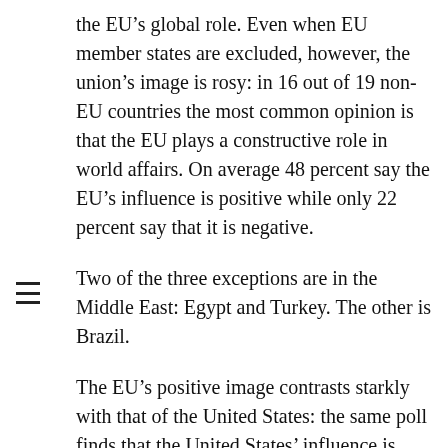the EU's global role. Even when EU member states are excluded, however, the union's image is rosy: in 16 out of 19 non-EU countries the most common opinion is that the EU plays a constructive role in world affairs. On average 48 percent say the EU's influence is positive while only 22 percent say that it is negative.
Two of the three exceptions are in the Middle East: Egypt and Turkey. The other is Brazil.
The EU's positive image contrasts starkly with that of the United States: the same poll finds that the United States' influence is viewed more negatively than the European Union in 24 of the 27 countries polled. The three countries where the EU's negative ratings are the same or higher than the United States' are Nigeria and Kenya, where roughly one in five see both countries negatively, and the Philippines, where 14 percent rate